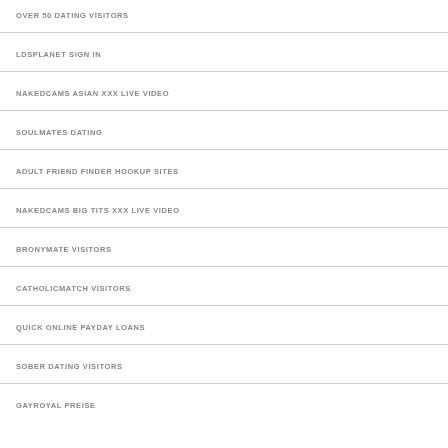OVER 50 DATING VISITORS
LDSPLANET SIGN IN
NAKEDCAMS ASIAN XXX LIVE VIDEO
SOULMATES DATING
ADULT FRIEND FINDER HOOKUP SITES
NAKEDCAMS BIG TITS XXX LIVE VIDEO
BRONYMATE VISITORS
CATHOLICMATCH VISITORS
QUICK ONLINE PAYDAY LOANS
SOBER DATING VISITORS
GAYROYAL PREISE